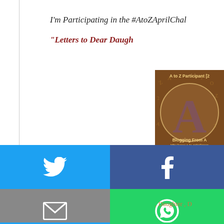I'm Participating in the #AtoZAprilChal
“Letters to Dear Daugh
[Figure (illustration): A to Z Participant badge with large letter A, text 'A to Z Participant [2...]', 'Blogging From A' and 'http://www.a-to-zchallenge']
[Figure (infographic): Social share buttons: Twitter (blue), Facebook (dark blue), Email (grey), WhatsApp (green), SMS (light blue), and a rotate/share icon (green)]
, Daughter , D